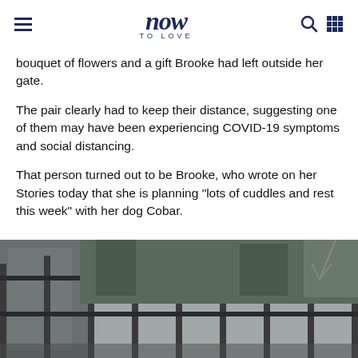now TO LOVE
bouquet of flowers and a gift Brooke had left outside her gate.
The pair clearly had to keep their distance, suggesting one of them may have been experiencing COVID-19 symptoms and social distancing.
That person turned out to be Brooke, who wrote on her Stories today that she is planning "lots of cuddles and rest this week" with her dog Cobar.
[Figure (photo): Outdoor photo showing a metal fence/gate with trees and a building visible in the background, in muted grey tones.]